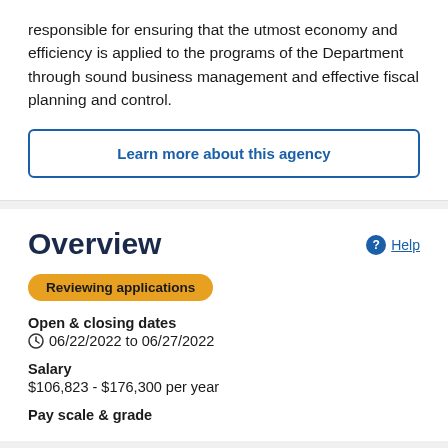responsible for ensuring that the utmost economy and efficiency is applied to the programs of the Department through sound business management and effective fiscal planning and control.
Learn more about this agency
Overview
Reviewing applications
Open & closing dates
06/22/2022 to 06/27/2022
Salary
$106,823 - $176,300 per year
Pay scale & grade